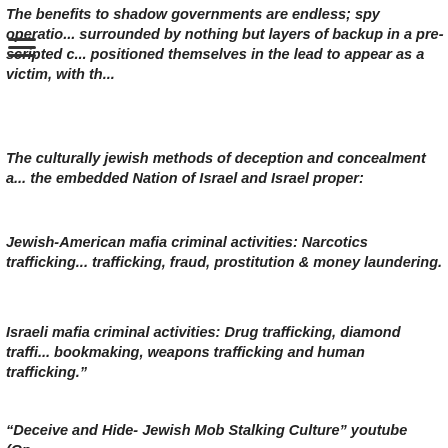The benefits to shadow governments are endless; spy operations surrounded by nothing but layers of backup in a pre-scripted c... positioned themselves in the lead to appear as a victim, with th...
The culturally jewish methods of deception and concealment a... the embedded Nation of Israel and Israel proper:
Jewish-American mafia criminal activities: Narcotics trafficking, trafficking, fraud, prostitution & money laundering.
Israeli mafia criminal activities: Drug trafficking, diamond traffic... bookmaking, weapons trafficking and human trafficking."
“Deceive and Hide- Jewish Mob Stalking Culture” youtube (Op...
Audio & Video , New World Order , The Controllers
← Previous
Bryan Kofron: Mind Virus Frequency Bioweapon used to Mod... Race
Privacy Preferences
I Agree